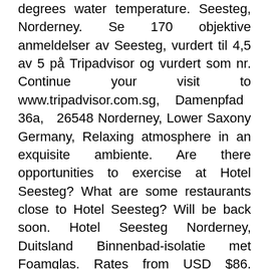degrees water temperature. Seesteg, Norderney. Se 170 objektive anmeldelser av Seesteg, vurdert til 4,5 av 5 på Tripadvisor og vurdert som nr. Continue your visit to www.tripadvisor.com.sg, Damenpfad 36a, 26548 Norderney, Lower Saxony Germany, Relaxing atmosphere in an exquisite ambiente. Are there opportunities to exercise at Hotel Seesteg? What are some restaurants close to Hotel Seesteg? Will be back soon. Hotel Seesteg Norderney, Duitsland Binnenbad-isolatie met Foamglas. Rates from USD $86. Aansluitend zijn de vlakken afgedicht met onze flexibele, minerale adfichtingsmortel AQUAFIN-2K/M-PLUS. Which popular attractions are close to Hotel Seesteg? The huge bathroom/ Toillette/ Shower also has a large glass partition so one looks through the bedroom onto the beachfront!! Excellent rooms, stunning views, super beds and a good service. Relais & Châteaux Hotel Seesteg is a hotel in Lower Saxony. When you're feeling hungry, be sure to check out Restaurant Da Sergio, Al Dente, and Pizzeria Michelangelo, which are some Italian restaurants that are popular with locals and out-of-towners